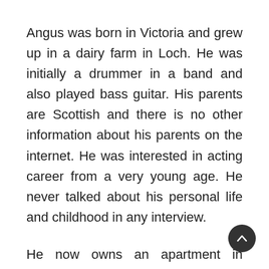Angus was born in Victoria and grew up in a dairy farm in Loch. He was initially a drummer in a band and also played bass guitar. His parents are Scottish and there is no other information about his parents on the internet. He was interested in acting career from a very young age. He never talked about his personal life and childhood in any interview.
He now owns an apartment in Victoria. He has 2.5 million dollar net worth. He is currently single. He dated Indiana Evans, actress in the past. They started dating in 2009 and broke up in 2012. After Evans, he was never in a...